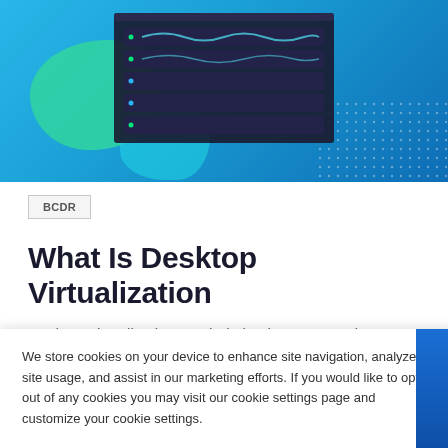[Figure (illustration): Hero banner with blue/teal gradient background showing a server rack illustration with teal blob shapes and dot pattern]
BCDR
What Is Desktop Virtualization
Desktop virtualization can help businesses conduct a smooth onboarding process for new employees while reducing costs.
We store cookies on your device to enhance site navigation, analyze site usage, and assist in our marketing efforts. If you would like to opt-out of any cookies you may visit our cookie settings page and customize your cookie settings.